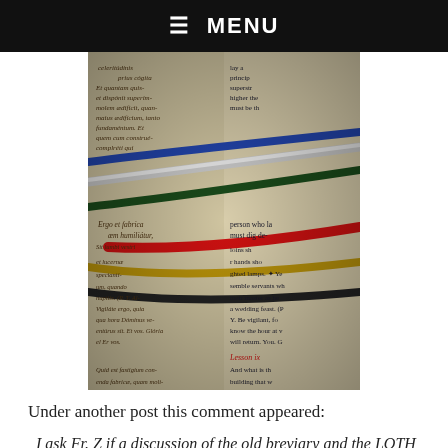☰  MENU
[Figure (photo): Close-up photo of an open book (Latin liturgical text/breviary) with multiple colored ribbon bookmarks (blue, white/silver, dark green, red, gold/yellow, black) fanning across the pages. The text on the pages is in Latin with some English translation visible on the right side.]
Under another post this comment appeared:
I ask Fr. Z if a discussion of the old breviary and the LOTH is a rabbit hole. If so, I ask him to post about a comparison